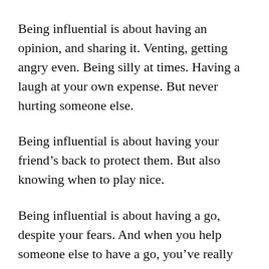Being influential is about having an opinion, and sharing it. Venting, getting angry even. Being silly at times. Having a laugh at your own expense. But never hurting someone else.
Being influential is about having your friend's back to protect them. But also knowing when to play nice.
Being influential is about having a go, despite your fears. And when you help someone else to have a go, you've really done something.
It's not about followers or ratings or beauty or hits. It's about changing the way someone thinks about something, or encouraging them to make a